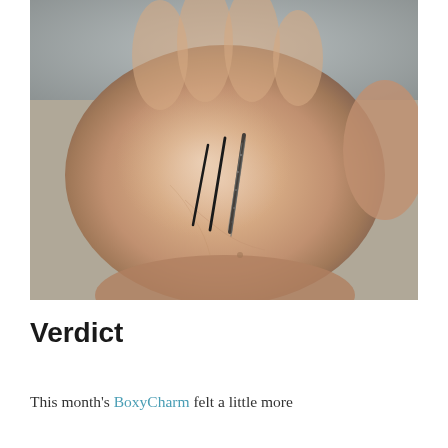[Figure (photo): A close-up photo of a person's hand showing three eyeliner swatches drawn on the back of the hand — two matte black lines and one glittery/sparkly black line — against a grey background.]
Verdict
This month's BoxyCharm felt a little more